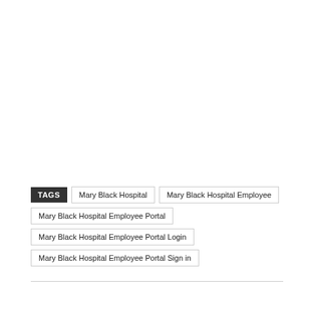TAGS | Mary Black Hospital | Mary Black Hospital Employee | Mary Black Hospital Employee Portal | Mary Black Hospital Employee Portal Login | Mary Black Hospital Employee Portal Sign in